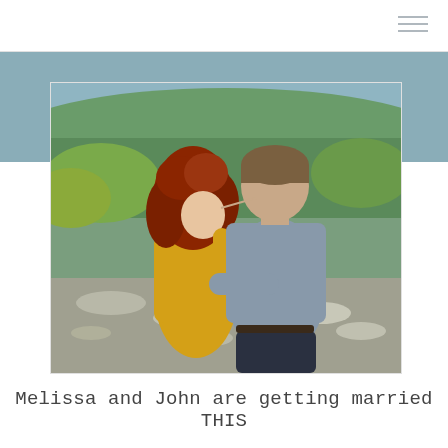[Figure (photo): An engaged couple embracing outdoors on a rocky overlook with autumn foliage in the background. The woman has curly red hair and is wearing a yellow sweater; the man is taller with short brown hair and is wearing a gray button-up shirt and dark jeans. They are touching foreheads in an intimate pose.]
Melissa and John are getting married THIS